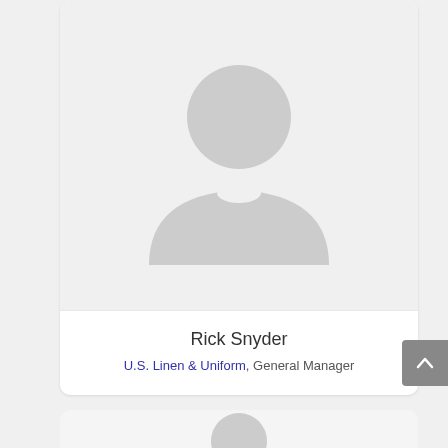[Figure (illustration): Default user profile avatar placeholder — grey silhouette of a person (head and shoulders) on a light grey background]
Rick Snyder
U.S. Linen & Uniform, General Manager
[Figure (illustration): Bottom of a second profile card partially visible, showing top of another default user avatar]